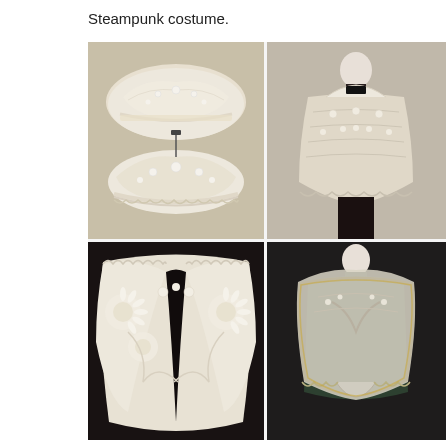Steampunk costume.
[Figure (photo): Four photos of antique white/cream lace garments on display mannequins: top-left shows two lace bonnets/caps, top-right shows a lace capelet on a mannequin, bottom-left shows a detailed lace collar/fichu close-up, bottom-right shows a lace shawl/fichu on a mannequin.]